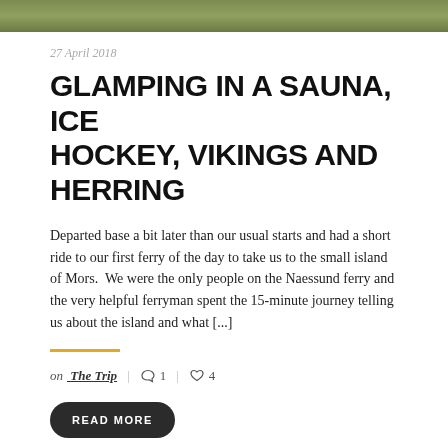[Figure (photo): Partial photo strip at top showing green outdoor/nature scene]
27 April 2018
GLAMPING IN A SAUNA, ICE HOCKEY, VIKINGS AND HERRING
Departed base a bit later than our usual starts and had a short ride to our first ferry of the day to take us to the small island of Mors. We were the only people on the Naessund ferry and the very helpful ferryman spent the 15-minute journey telling us about the island and what [...]
on The Trip  |  ○ 1  |  ♡ 4
READ MORE